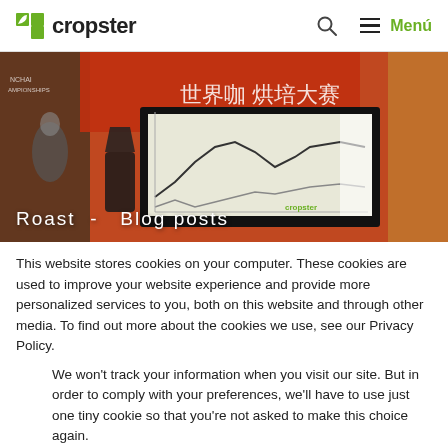cropster — Menú
[Figure (photo): Trade show booth with a large monitor displaying a coffee roasting profile graph with line charts. Red banner with Chinese characters in background. Text overlay: Roast - Blog posts]
This website stores cookies on your computer. These cookies are used to improve your website experience and provide more personalized services to you, both on this website and through other media. To find out more about the cookies we use, see our Privacy Policy.
We won't track your information when you visit our site. But in order to comply with your preferences, we'll have to use just one tiny cookie so that you're not asked to make this choice again.